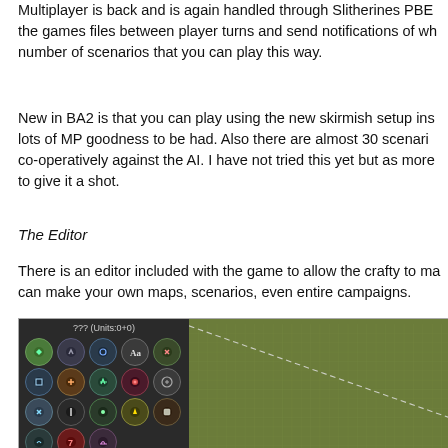Multiplayer is back and is again handled through Slitherines PBEM the games files between player turns and send notifications of wh number of scenarios that you can play this way.
New in BA2 is that you can play using the new skirmish setup inst lots of MP goodness to be had. Also there are almost 30 scenario co-operatively against the AI. I have not tried this yet but as more to give it a shot.
The Editor
There is an editor included with the game to allow the crafty to ma can make your own maps, scenarios, even entire campaigns.
[Figure (screenshot): Screenshot of a game map editor showing a toolbar panel on the left with circular icons and layer list, and a green grid map on the right with a dashed diagonal boundary line.]